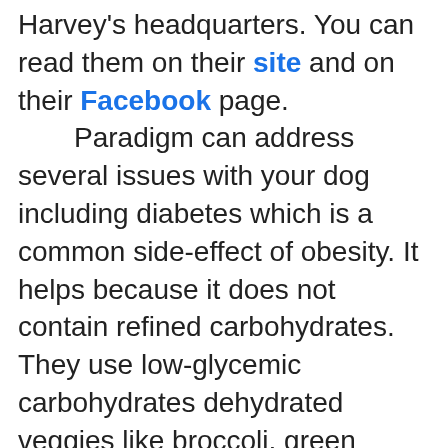Harvey's headquarters. You can read them on their site and on their Facebook page. Paradigm can address several issues with your dog including diabetes which is a common side-effect of obesity. It helps because it does not contain refined carbohydrates. They use low-glycemic carbohydrates dehydrated veggies like broccoli, green beans, and cabbage. Your dog will also benefit from the numerous herbs including turmeric, spirulina, ginger, and clover. It is a Ketogenic diet for your dog. I'm sure you have seen some of the incredible results a keto diet has in humans. It is healthy and a wonderful way to shed unwanted pounds.